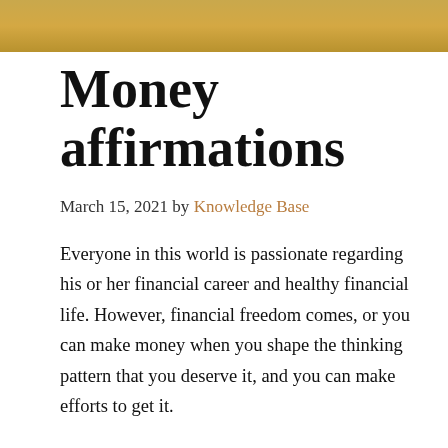[Figure (photo): Decorative image strip at top of page, golden/amber toned background]
Money affirmations
March 15, 2021 by Knowledge Base
Everyone in this world is passionate regarding his or her financial career and healthy financial life. However, financial freedom comes, or you can make money when you shape the thinking pattern that you deserve it, and you can make efforts to get it.
When you positively start accepting your potential and feel attraction towards money, ultimately, this will